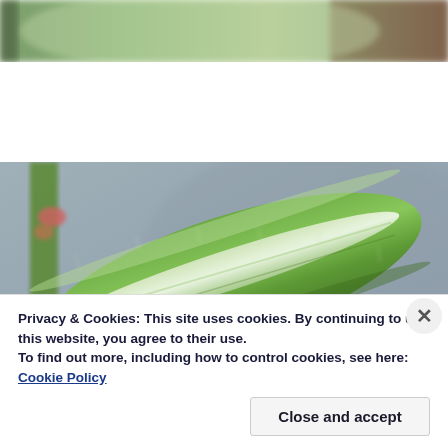[Figure (photo): Close-up photo of a green caterpillar or insect on a branch, with blurred brown background (top strip, partially visible)]
[Figure (photo): Close-up macro photo of a green caterpillar or leaf-like insect on a twig, showing white stripe along its body, with blurred gray background]
Privacy & Cookies: This site uses cookies. By continuing to use this website, you agree to their use.
To find out more, including how to control cookies, see here: Cookie Policy
Close and accept